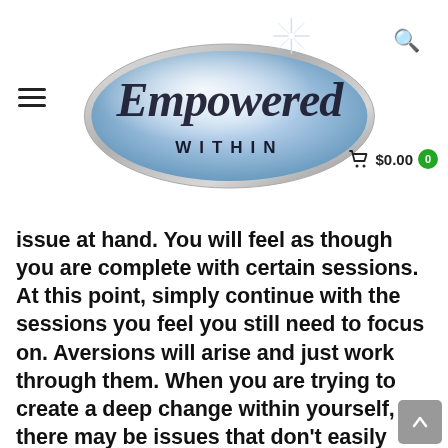[Figure (logo): Empowered Within logo — stylized silver oval with cursive 'Empowered' text and 'WITHIN' in caps, with a starburst accent]
issue at hand. You will feel as though you are complete with certain sessions. At this point, simply continue with the sessions you feel you still need to focus on. Aversions will arise and just work through them. When you are trying to create a deep change within yourself, there may be issues that don't easily release. Your commitment to your program is imperative to your success. If you stick with it and allow the changes to happen, you will see these issues start to release for you. Don't